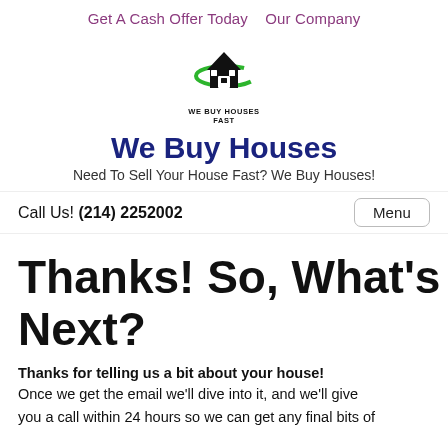Get A Cash Offer Today   Our Company
[Figure (logo): We Buy Houses Fast logo: black house silhouette with green swoosh arc and text WE BUY HOUSES FAST below]
We Buy Houses
Need To Sell Your House Fast? We Buy Houses!
Call Us! (214) 2252002
Thanks! So, What's Next?
Thanks for telling us a bit about your house! Once we get the email we'll dive into it, and we'll give you a call within 24 hours so we can get any final bits of